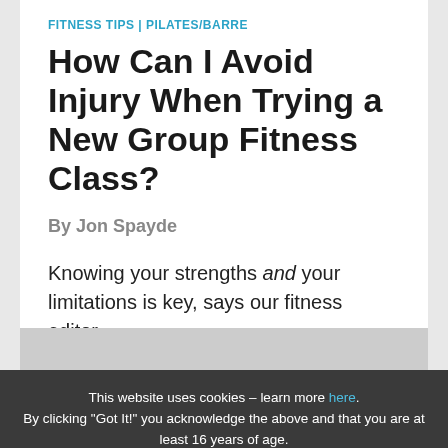FITNESS TIPS | PILATES/BARRE
How Can I Avoid Injury When Trying a New Group Fitness Class?
By Jon Spayde
Knowing your strengths and your limitations is key, says our fitness editor.
This website uses cookies – learn more here. By clicking “Got It!” you acknowledge the above and that you are at least 16 years of age.
Got It!